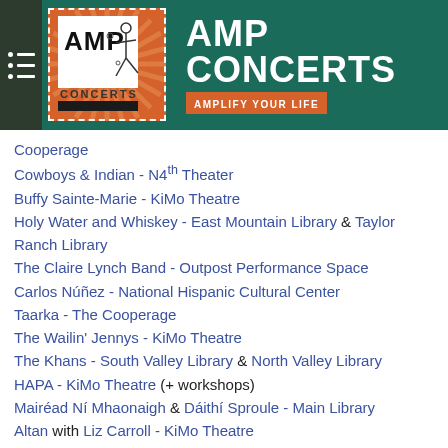[Figure (logo): AMP Concerts logo with stick figure musician on orange sunburst background, on a teal/dark green banner. Text reads AMP CONCERTS and AMPLIFY YOUR LIFE.]
Cooperage
Cowboys & Indian - N4th Theater
Buffy Sainte-Marie - KiMo Theatre
Holy Water and Whiskey - East Mountain Library & Taylor Ranch Library
The Claire Lynch Band - Outpost Performance Space
Carlos Núñez - National Hispanic Cultural Center
Taarka - The Cooperage
The Wailin' Jennys - KiMo Theatre
The Khans - South Valley Library & North Valley Library
HAPA - KiMo Theatre (+ workshops)
Mairéad Ní Mhaonaigh & Dáithí Sproule - Main Library
Altan with Liz Carroll - KiMo Theatre
Ewan Dobson - Tony Hillerman Library & The Cooperage (+ workshop)
Steve Earle & the Dukes with The Mastersons - KiMo Theatre